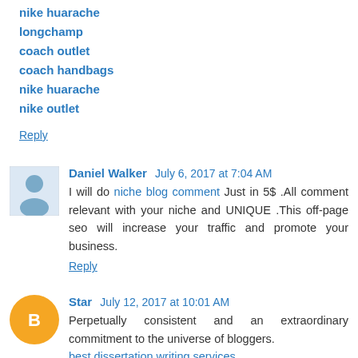nike huarache
longchamp
coach outlet
coach handbags
nike huarache
nike outlet
Reply
Daniel Walker  July 6, 2017 at 7:04 AM
I will do niche blog comment Just in 5$ .All comment relevant with your niche and UNIQUE .This off-page seo will increase your traffic and promote your business.
Reply
Star  July 12, 2017 at 10:01 AM
Perpetually consistent and an extraordinary commitment to the universe of bloggers.
best dissertation writing services
Reply